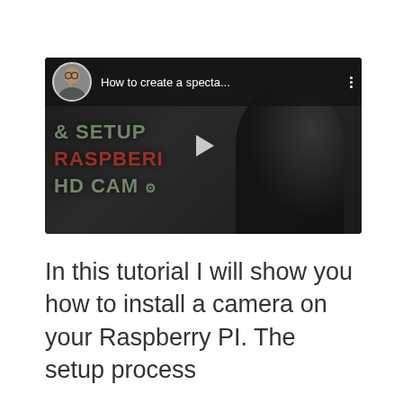[Figure (screenshot): YouTube video thumbnail/player showing a man with glasses in a dark setting. Video title overlay text reads '& SETUP', 'RASPBERI', 'HD CAM' with a play button in the center. A circular avatar of a man thinking is shown in the top-left corner alongside the text 'How to create a specta...' and a three-dot menu icon.]
In this tutorial I will show you how to install a camera on your Raspberry PI. The setup process